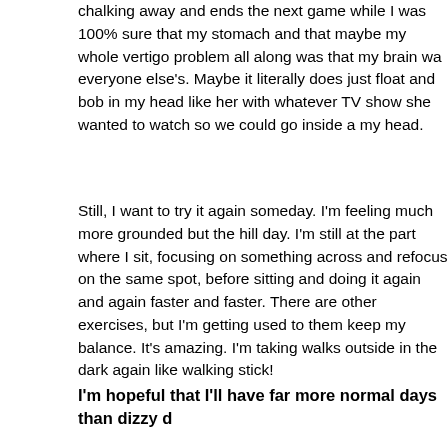chalking away and ends the next game while I was 100% sure that my stomach and that maybe my whole vertigo problem all along was that my brain wa everyone else's. Maybe it literally does just float and bob in my head like her with whatever TV show she wanted to watch so we could go inside a my head.
Still, I want to try it again someday. I'm feeling much more grounded but the hill day. I'm still at the part where I sit, focusing on something across and refocus on the same spot, before sitting and doing it again and again faster and faster. There are other exercises, but I'm getting used to them keep my balance. It's amazing. I'm taking walks outside in the dark again like walking stick!
I'm hopeful that I'll have far more normal days than dizzy d
The VRT doctor told me that nothing I can do to my ears will cause BPPV Positional Vertigo). I can't wait to swim underwater in the summer. It's be most cautious snorkeler for a very long time. One thing she warned me a off. My annual trip to Greece is one long journey. This year it took me fou island I go to. Yes, I did get vertigo there, and again after returning home about it, but I'll go anyway. At least now I know how to diagnose which ea perform the Epley Maneuver on myself. If both ears are affected, that's w
What about the migraine with aura I've had since 2001? It's still there. My more often than they're not. There's a host of odd visual disturbances tha